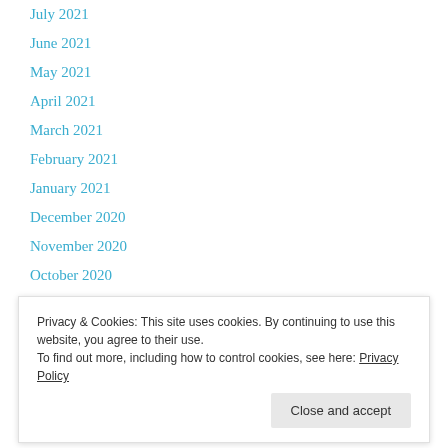July 2021
June 2021
May 2021
April 2021
March 2021
February 2021
January 2021
December 2020
November 2020
October 2020
Privacy & Cookies: This site uses cookies. By continuing to use this website, you agree to their use.
To find out more, including how to control cookies, see here: Privacy Policy
June 2020